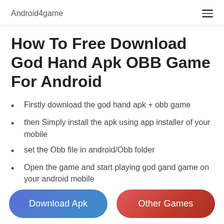Android4game
How To Free Download God Hand Apk OBB Game For Android
Firstly download the god hand apk + obb game
then Simply install the apk using app installer of your mobile
set the Obb file in android/Obb folder
Open the game and start playing god gand game on your android mobile